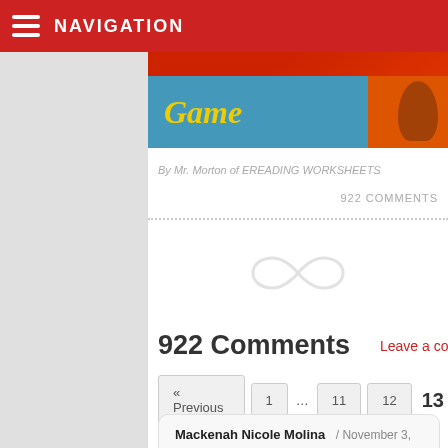NAVIGATION
[Figure (illustration): Blog banner image showing 'Game' text on blue background with orange/red gradient, partial image of a figure at right]
By Mr. Morton of EREADING WORKSHEETS
922 COMMENTS
[Figure (illustration): Decorative infinity/scroll symbol divider]
922 Comments
Leave a comment
« Previous  1  ...  11  12  13
Mackenah Nicole Molina / November 3, 2020